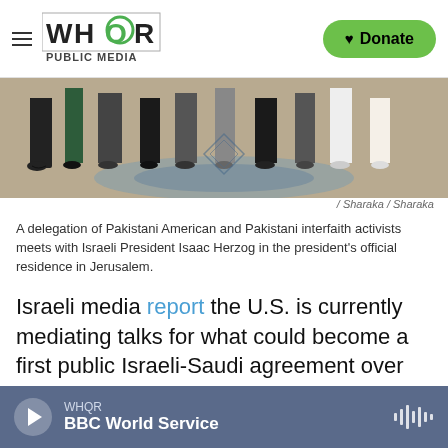WHOR PUBLIC MEDIA | Donate
[Figure (photo): Feet and legs of a group of people standing on a decorative carpet, seen from the knees down. Women wearing heels in various colors. Formal setting.]
/ Sharaka / Sharaka
A delegation of Pakistani American and Pakistani interfaith activists meets with Israeli President Isaac Herzog in the president's official residence in Jerusalem.
Israeli media report the U.S. is currently mediating talks for what could become a first public Israeli-Saudi agreement over the status of two Red Sea islands where Israeli ships pass.
"The next stage in the Abraham Accords, in
WHQR | BBC World Service